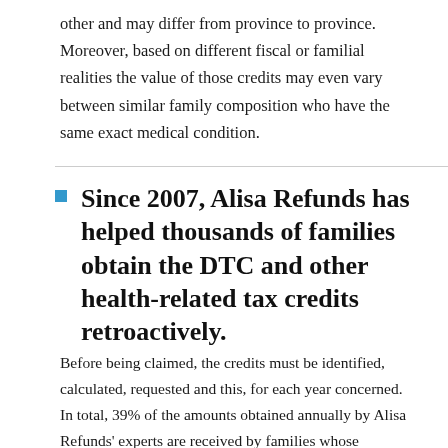other and may differ from province to province. Moreover, based on different fiscal or familial realities the value of those credits may even vary between similar family composition who have the same exact medical condition.
Since 2007, Alisa Refunds has helped thousands of families obtain the DTC and other health-related tax credits retroactively.
Before being claimed, the credits must be identified, calculated, requested and this, for each year concerned. In total, 39% of the amounts obtained annually by Alisa Refunds' experts are received by families whose eligibility for certain credits had already been recognized. It is therefore in your interest to check whether you have